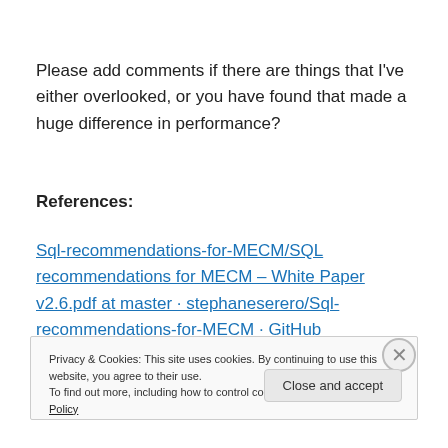Please add comments if there are things that I've either overlooked, or you have found that made a huge difference in performance?
References:
Sql-recommendations-for-MECM/SQL recommendations for MECM – White Paper v2.6.pdf at master · stephaneserero/Sql-recommendations-for-MECM · GitHub
Privacy & Cookies: This site uses cookies. By continuing to use this website, you agree to their use. To find out more, including how to control cookies, see here: Cookie Policy